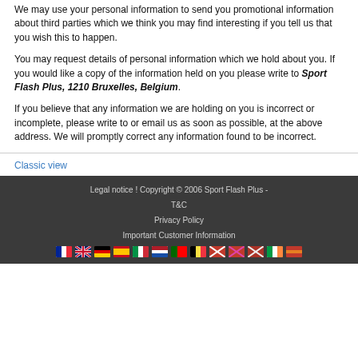We may use your personal information to send you promotional information about third parties which we think you may find interesting if you tell us that you wish this to happen.
You may request details of personal information which we hold about you. If you would like a copy of the information held on you please write to Sport Flash Plus, 1210 Bruxelles, Belgium.
If you believe that any information we are holding on you is incorrect or incomplete, please write to or email us as soon as possible, at the above address. We will promptly correct any information found to be incorrect.
Classic view
Legal notice ! Copyright © 2006 Sport Flash Plus - T&C Privacy Policy Important Customer Information